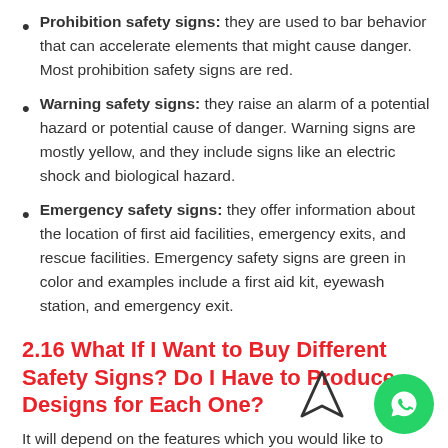Prohibition safety signs: they are used to bar behavior that can accelerate elements that might cause danger. Most prohibition safety signs are red.
Warning safety signs: they raise an alarm of a potential hazard or potential cause of danger. Warning signs are mostly yellow, and they include signs like an electric shock and biological hazard.
Emergency safety signs: they offer information about the location of first aid facilities, emergency exits, and rescue facilities. Emergency safety signs are green in color and examples include a first aid kit, eyewash station, and emergency exit.
2.16 What If I Want to Buy Different Safety Signs? Do I Have to Produce Designs for Each One?
It will depend on the features which you would like to